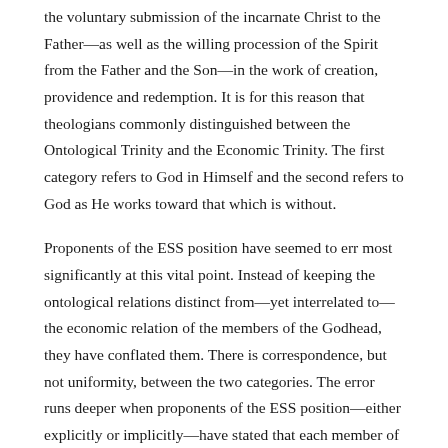the voluntary submission of the incarnate Christ to the Father—as well as the willing procession of the Spirit from the Father and the Son—in the work of creation, providence and redemption. It is for this reason that theologians commonly distinguished between the Ontological Trinity and the Economic Trinity. The first category refers to God in Himself and the second refers to God as He works toward that which is without.
Proponents of the ESS position have seemed to err most significantly at this vital point. Instead of keeping the ontological relations distinct from—yet interrelated to—the economic relation of the members of the Godhead, they have conflated them. There is correspondence, but not uniformity, between the two categories. The error runs deeper when proponents of the ESS position—either explicitly or implicitly—have stated that each member of the Godhead has His own will. To suggest that the Son eternally submits to the will of the Father in the immanent Trinity is to